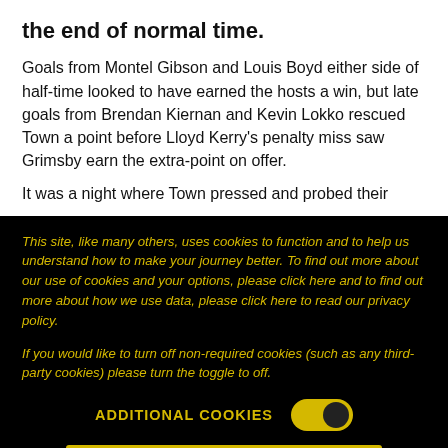the end of normal time.
Goals from Montel Gibson and Louis Boyd either side of half-time looked to have earned the hosts a win, but late goals from Brendan Kiernan and Kevin Lokko rescued Town a point before Lloyd Kerry's penalty miss saw Grimsby earn the extra-point on offer.
It was a night where Town pressed and probed their
This site, like many others, uses cookies to function and to help us understand how to make your journey better. To find out more about our use of cookies and your options, please click here and to find out more about how we use data, please click here to read our privacy policy.
If you would like to turn off non-required cookies (such as any third-party cookies) please turn the toggle to off.
ADDITIONAL COOKIES
ACCEPT AND CLOSE